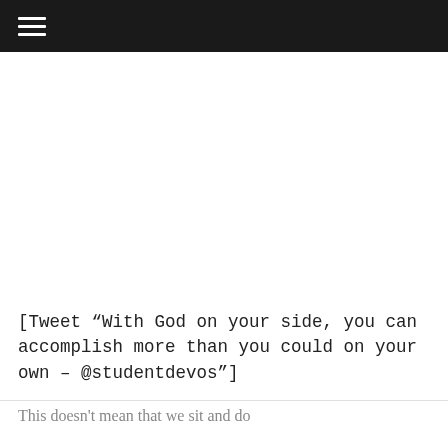[Tweet “With God on your side, you can accomplish more than you could on your own – @studentdevos”]
This doesn't mean that we sit and do